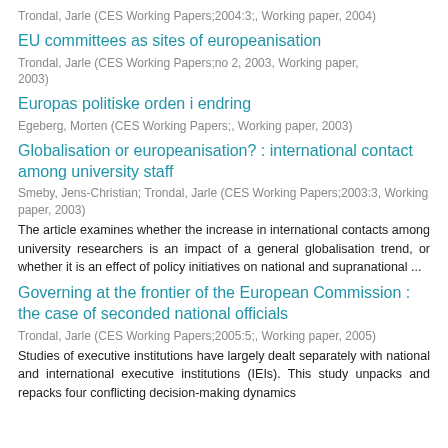Trondal, Jarle (CES Working Papers;2004:3;, Working paper, 2004)
EU committees as sites of europeanisation
Trondal, Jarle (CES Working Papers;no 2, 2003, Working paper, 2003)
Europas politiske orden i endring
Egeberg, Morten (CES Working Papers;, Working paper, 2003)
Globalisation or europeanisation? : international contact among university staff
Smeby, Jens-Christian; Trondal, Jarle (CES Working Papers;2003:3, Working paper, 2003)
The article examines whether the increase in international contacts among university researchers is an impact of a general globalisation trend, or whether it is an effect of policy initiatives on national and supranational ...
Governing at the frontier of the European Commission : the case of seconded national officials
Trondal, Jarle (CES Working Papers;2005:5;, Working paper, 2005)
Studies of executive institutions have largely dealt separately with national and international executive institutions (IEIs). This study unpacks and repacks four conflicting decision-making dynamics